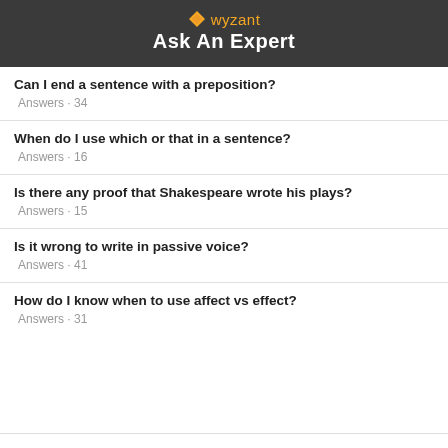wyzant Ask An Expert
Can I end a sentence with a preposition?
Answers · 34
When do I use which or that in a sentence?
Answers · 16
Is there any proof that Shakespeare wrote his plays?
Answers · 15
Is it wrong to write in passive voice?
Answers · 41
How do I know when to use affect vs effect?
Answers · 31